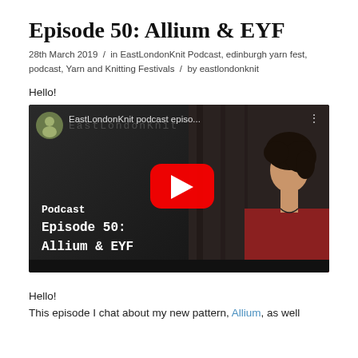Episode 50: Allium & EYF
28th March 2019 / in EastLondonKnit Podcast, edinburgh yarn fest, podcast, Yarn and Knitting Festivals / by eastlondonknit
Hello!
[Figure (screenshot): YouTube video embed thumbnail showing EastLondonKnit podcast episode 50: Allium & EYF. Dark background with a woman in a red sweater visible on the right side. Red YouTube play button in the center. Channel avatar and title 'EastLondonKnit podcast episo...' visible at the top. Text overlay reads 'Podcast', 'Episode 50:', 'Allium & EYF'.]
Hello!
This episode I chat about my new pattern, Allium, as well